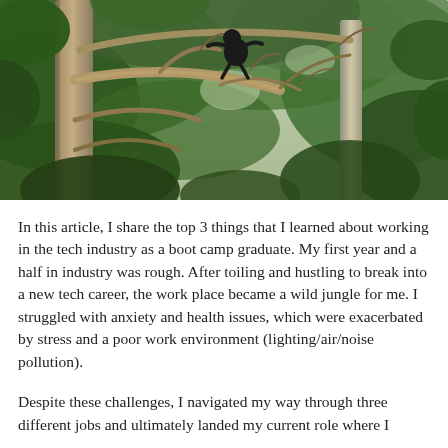[Figure (photo): Photograph of a dark animal (likely a chimpanzee or monkey) perched in a dense tree canopy with green leaves and pale tree branches, shot from below looking up.]
In this article, I share the top 3 things that I learned about working in the tech industry as a boot camp graduate. My first year and a half in industry was rough. After toiling and hustling to break into a new tech career, the work place became a wild jungle for me. I struggled with anxiety and health issues, which were exacerbated by stress and a poor work environment (lighting/air/noise pollution).
Despite these challenges, I navigated my way through three different jobs and ultimately landed my current role where I